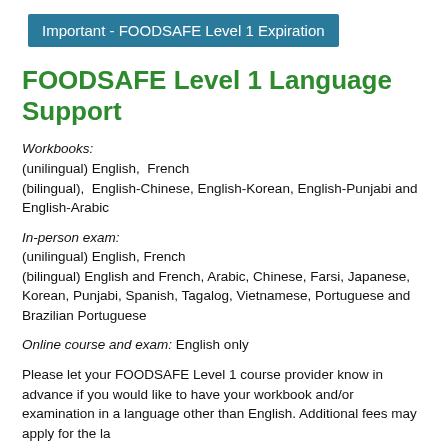Important - FOODSAFE Level 1 Expiration
FOODSAFE Level 1 Language Support
Workbooks: (unilingual) English, French (bilingual), English-Chinese, English-Korean, English-Punjabi and English-Arabic
In-person exam: (unilingual) English, French (bilingual) English and French, Arabic, Chinese, Farsi, Japanese, Korean, Punjabi, Spanish, Tagalog, Vietnamese, Portuguese and Brazilian Portuguese
Online course and exam: English only
Please let your FOODSAFE Level 1 course provider know in advance if you would like to have your workbook and/or examination in a language other than English. Additional fees may apply for the language...